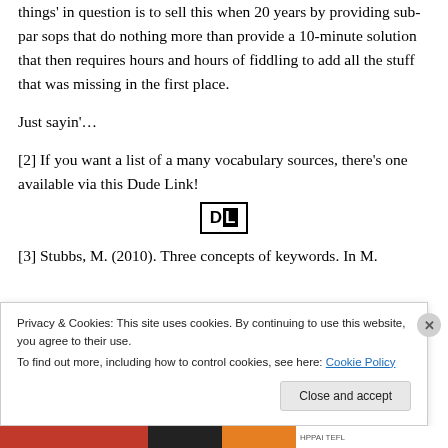things' in question is to sell this when 20 years by providing sub-par sops that do nothing more than provide a 10-minute solution that then requires hours and hours of fiddling to add all the stuff that was missing in the first place.
Just sayin'…
[2] If you want a list of a many vocabulary sources, there's one available via this Dude Link!
[Figure (logo): DL logo in a bordered box — black D and inverted-color L letters]
[3] Stubbs, M. (2010). Three concepts of keywords. In M.
Privacy & Cookies: This site uses cookies. By continuing to use this website, you agree to their use.
To find out more, including how to control cookies, see here: Cookie Policy